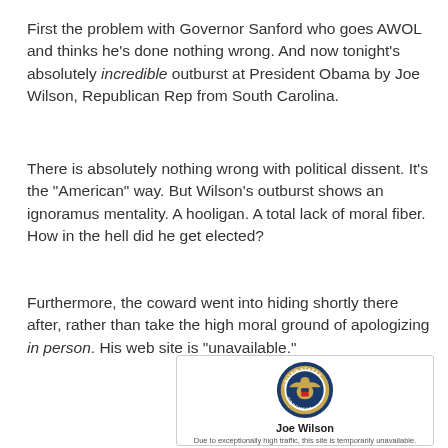First the problem with Governor Sanford who goes AWOL and thinks he's done nothing wrong. And now tonight's absolutely incredible outburst at President Obama by Joe Wilson, Republican Rep from South Carolina.
There is absolutely nothing wrong with political dissent. It's the "American" way. But Wilson's outburst shows an ignoramus mentality. A hooligan. A total lack of moral fiber. How in the hell did he get elected?
Furthermore, the coward went into hiding shortly there after, rather than take the high moral ground of apologizing in person. His web site is "unavailable."
[Figure (screenshot): Screenshot of Joe Wilson's congressional website showing the United States Congress seal and a message: 'Joe Wilson - Due to exceptionally high traffic, this site is temporarily unavailable.']